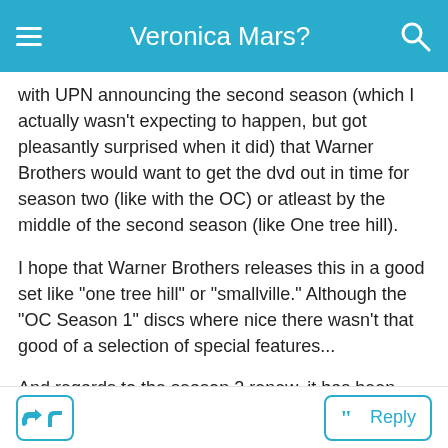Veronica Mars?
with UPN announcing the second season (which I actually wasn't expecting to happen, but got pleasantly surprised when it did) that Warner Brothers would want to get the dvd out in time for season two (like with the OC) or atleast by the middle of the second season (like One tree hill).
I hope that Warner Brothers releases this in a good set like "one tree hill" or "smallville." Although the "OC Season 1" discs where nice there wasn't that good of a selection of special features...
And regards to the season 2 renew, it has been posted on such websites as: Buffy.nu, tvtome, imdb, and I wouldn't be surprised if Kristin from the Eonline TV Gossip section isn't all crazy when she posts todays chat transcripts around 7 or 9 pm pst....